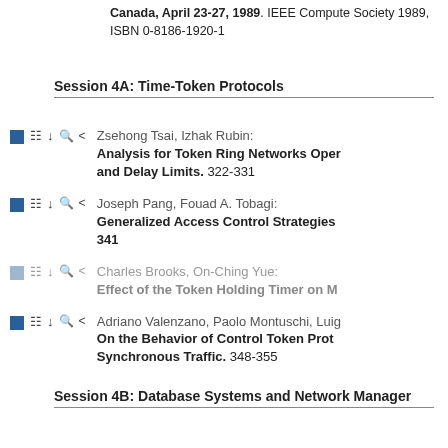Canada, April 23-27, 1989. IEEE Computer Society 1989, ISBN 0-8186-1920-1
Session 4A: Time-Token Protocols
Zsehong Tsai, Izhak Rubin: Analysis for Token Ring Networks Oper and Delay Limits. 322-331
Joseph Pang, Fouad A. Tobagi: Generalized Access Control Strategies 341
Charles Brooks, On-Ching Yue: Effect of the Token Holding Timer on M
Adriano Valenzano, Paolo Montuschi, Luig On the Behavior of Control Token Prot Synchronous Traffic. 348-355
Session 4B: Database Systems and Network Manager